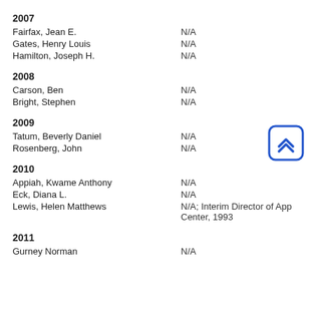2007
Fairfax, Jean E.    N/A
Gates, Henry Louis    N/A
Hamilton, Joseph H.    N/A
2008
Carson, Ben    N/A
Bright, Stephen    N/A
2009
Tatum, Beverly Daniel    N/A
Rosenberg, John    N/A
2010
Appiah, Kwame Anthony    N/A
Eck, Diana L.    N/A
Lewis, Helen Matthews    N/A; Interim Director of App Center, 1993
2011
Gurney Norman    N/A